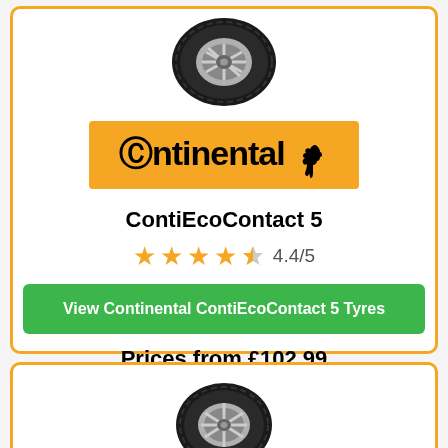[Figure (photo): Continental tire product image, top view of a car tyre]
[Figure (logo): Continental brand logo - orange rectangle background with black Continental text and rearing horse silhouette]
ContiEcoContact 5
4.4/5 star rating with 4 full stars and one half star
View Continental ContiEcoContact 5 Tyres
Prices from £102.99
[Figure (photo): Second Continental tire product image, partial view at bottom of page]